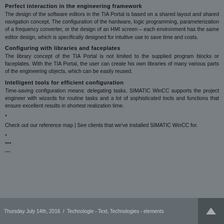Perfect interaction in the engineering framework
The design of the software editors in the TIA Portal is based on a shared layout and shared navigation concept. The configuration of the hardware, logic programming, parameterization of a frequency converter, or the design of an HMI screen – each environment has the same editor design, which is specifically designed for intuitive use to save time and costs.
Configuring with libraries and faceplates
The library concept of the TIA Portal is not limited to the supplied program blocks or faceplates. With the TIA Portal, the user can create his own libraries of many various parts of the engineering objects, which can be easily reused.
Intelligent tools for efficient configuration
Time-saving configuration means: delegating tasks. SIMATIC WinCC supports the project engineer with wizards for routine tasks and a lot of sophisticated tools and functions that ensure excellent results in shortest realization time.
*
Check out our reference map | See clients that we've installed SIMATIC WinCC for.
*
***
—
Thursday July 14th, 2016  /  Technologie - Text, Technologies - elements